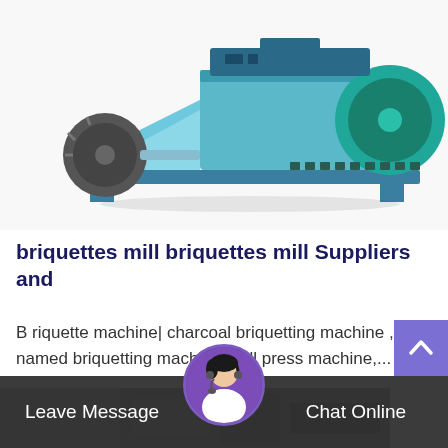[Figure (photo): Industrial briquettes mill machine — light blue/teal colored heavy machinery with a large funnel/hopper, motor on the left side, and toothed rotor on the right, mounted on a metal base frame.]
briquettes mill briquettes mill Suppliers and
B riquette machine| charcoal briquetting machine , also named briquetting machine, ball press machine,...
[Figure (photo): Partial view of another industrial machine at the bottom of the page, partially obscured by the chat bar.]
Leave Message
Chat Online